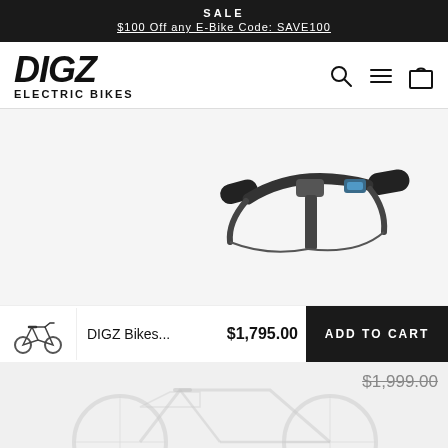SALE
$100 Off any E-Bike Code: SAVE100
[Figure (logo): DIGZ Electric Bikes logo in bold italic black text]
[Figure (screenshot): Navigation icons: search, hamburger menu, shopping bag]
[Figure (photo): Close-up photo of electric bike handlebars with grips and controls]
DIGZ Bikes...   $1,795.00   ADD TO CART
[Figure (photo): Electric bike full view, faded background]
$1,999.00
Matte Black - $1,795.00 USD   ∨   1